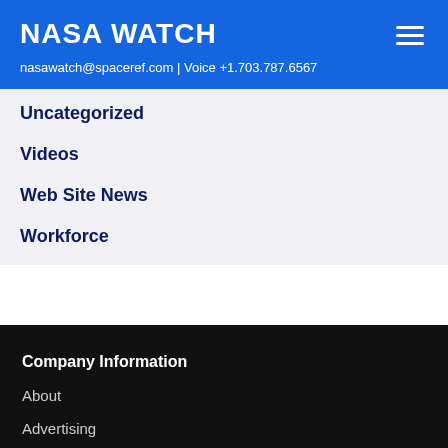NASA WATCH
nasawatch@spaceref.com | Voice +1.703.787.6567
Uncategorized
Videos
Web Site News
Workforce
Company Information
About
Advertising
Copyright
Privacy Policy